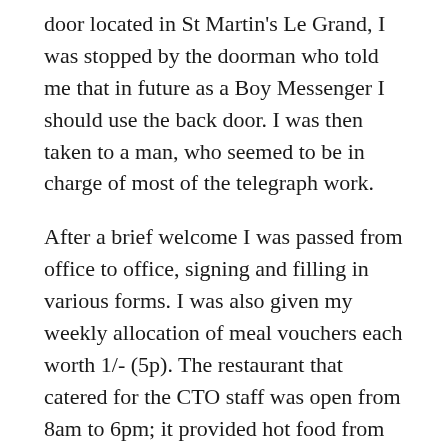door located in St Martin's Le Grand, I was stopped by the doorman who told me that in future as a Boy Messenger I should use the back door. I was then taken to a man, who seemed to be in charge of most of the telegraph work.
After a brief welcome I was passed from office to office, signing and filling in various forms. I was also given my weekly allocation of meal vouchers each worth 1/- (5p). The restaurant that catered for the CTO staff was open from 8am to 6pm; it provided hot food from 11am to 2.30pm. Despite the rationing it was possible to buy a good hot meal and a sweet for less than 1/-.
Finally, I was taken to the Chief Inspector of Messengers. I remember there were three